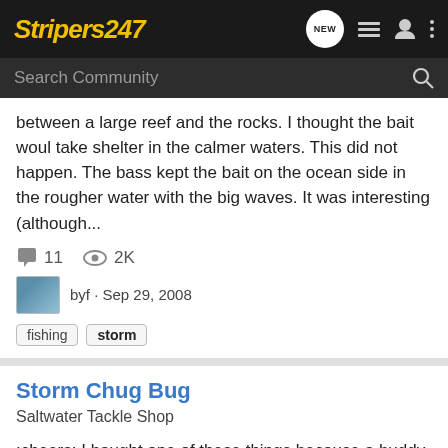Stripers247
between a large reef and the rocks. I thought the bait woul take shelter in the calmer waters. This did not happen. The bass kept the bait on the ocean side in the rougher water with the big waves. It was interesting (although...
11   2K
byf · Sep 29, 2008
fishing   storm
Storm Chug Bug
Saltwater Tackle Shop
:cheers: I bought one of these things because a buddy of mine recommended it. Are they good for stripers? Anyone every used one or caught anything with it? Just